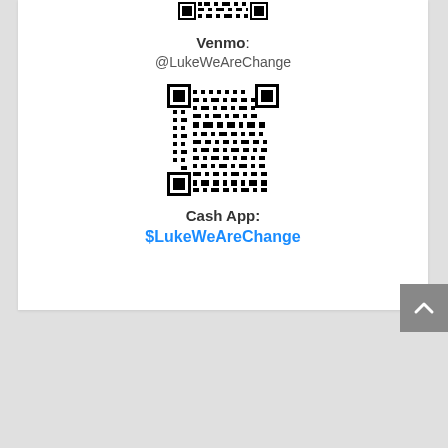[Figure (other): Partial QR code (top portion cropped) for Venmo]
Venmo:
@LukeWeAreChange
[Figure (other): QR code for Cash App $LukeWeAreChange]
Cash App:
$LukeWeAreChange